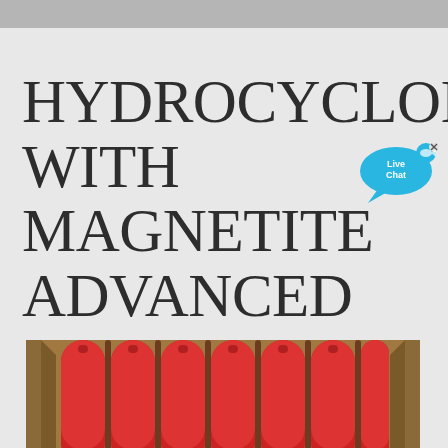HYDROCYCLONE WITH MAGNETITE ADVANCED
[Figure (other): Live Chat speech bubble widget with cyan/blue chat bubble and small fish icon, showing text 'Live Chat']
[Figure (photo): Photograph of a crate or wooden box containing multiple red hydrocyclone tubes/cones arranged in rows, viewed from above at an angle]